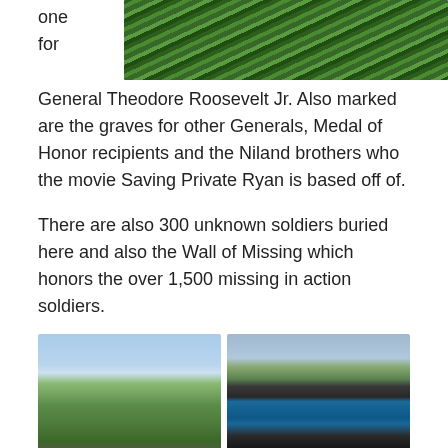one
for
[Figure (photo): Close-up photo of green grass from above]
General Theodore Roosevelt Jr. Also marked are the graves for other Generals, Medal of Honor recipients and the Niland brothers who the movie Saving Private Ryan is based off of.

There are also 300 unknown soldiers buried here and also the Wall of Missing which honors the over 1,500 missing in action soldiers.
[Figure (photo): Aerial view of coastal landscape with trees, beach, and a memorial wall visible at the bottom]
[Figure (photo): An outdoor informational map table showing a blue tactical/military map, with ocean visible in the background]